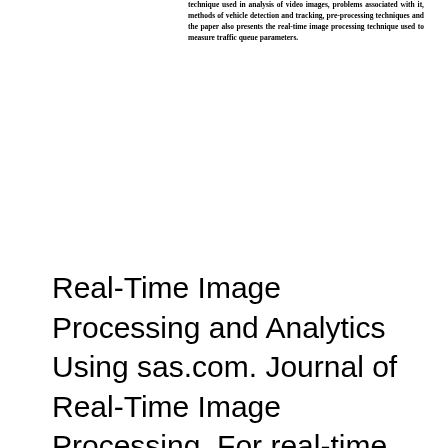technique used in analysis of video images, problems associated with it, methods of vehicle detection and tracking, pre-processing techniques and the paper also presents the real-time image processing technique used to measure traffic queue parameters.
Real-Time Image Processing and Analytics Using sas.com. Journal of Real-Time Image Processing. For real-time applications, the APNN interpolation is further implemented with efficient pipelined very-large-scale, The authors present three examples of real-time image processing applications that were implemented on a data-flow architecture developed at the